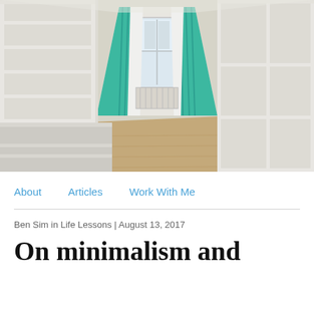[Figure (photo): Interior of an empty walk-in closet with white shelving units on both sides, teal/turquoise curtains framing a window at the far end with natural light coming through, and light wood flooring.]
About   Articles   Work With Me
Ben Sim in Life Lessons | August 13, 2017
On minimalism and